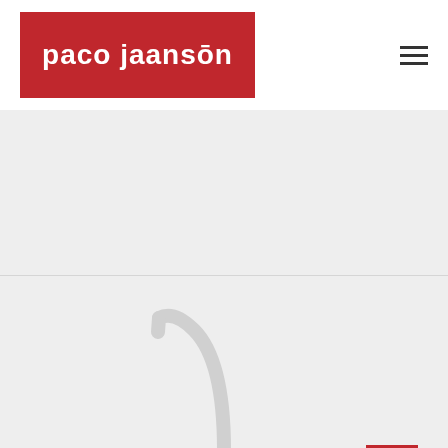[Figure (logo): Paco Jaanson logo — white bold text on red background]
[Figure (illustration): Hamburger menu icon — three horizontal dark lines]
[Figure (photo): Kitchen tap/faucet in white/silver color on light grey background, with a red button icon in lower right]
[Figure (other): Red square button with a white lock/padlock icon]